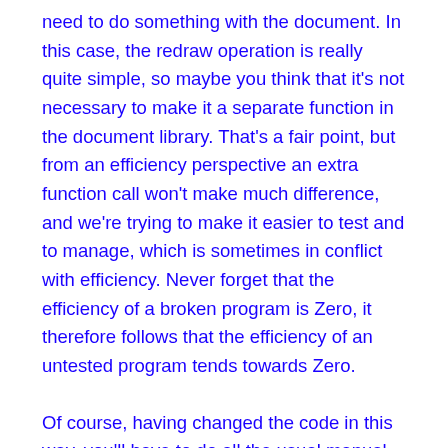need to do something with the document. In this case, the redraw operation is really quite simple, so maybe you think that it's not necessary to make it a separate function in the document library. That's a fair point, but from an efficiency perspective an extra function call won't make much difference, and we're trying to make it easier to test and to manage, which is sometimes in conflict with efficiency. Never forget that the efficiency of a broken program is Zero, it therefore follows that the efficiency of an untested program tends towards Zero.
Of course, having changed the code in this way, you'll have to do all the usual manual testing to be sure that the behaviour hasn't changed. As you're just moving things around, that should be relatively simple, but do be careful.